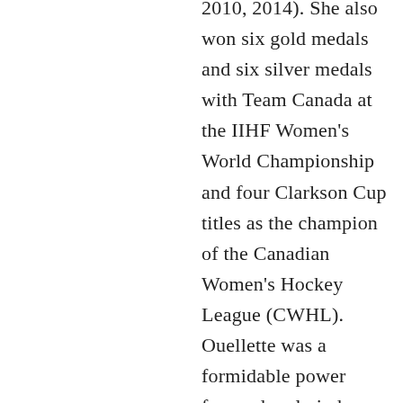2010, 2014). She also won six gold medals and six silver medals with Team Canada at the IIHF Women's World Championship and four Clarkson Cup titles as the champion of the Canadian Women's Hockey League (CWHL). Ouellette was a formidable power forward early in her career and became an excellent playmaker. Upon retiring from women's hockey in 2018, she ranked second all-time among Canadian women's hockey players in points (155) and third in...